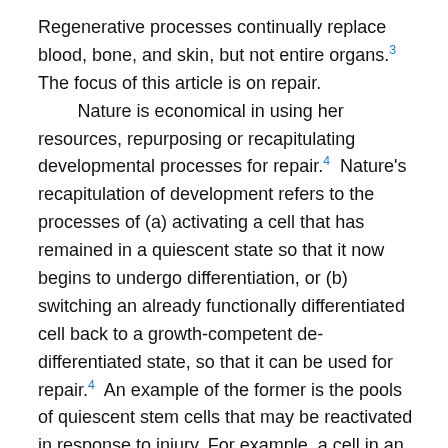Regenerative processes continually replace blood, bone, and skin, but not entire organs.³ The focus of this article is on repair.
    Nature is economical in using her resources, repurposing or recapitulating developmental processes for repair.⁴ Nature's recapitulation of development refers to the processes of (a) activating a cell that has remained in a quiescent state so that it now begins to undergo differentiation, or (b) switching an already functionally differentiated cell back to a growth-competent de-differentiated state, so that it can be used for repair.⁴ An example of the former is the pools of quiescent stem cells that may be reactivated in response to injury. For example, a cell in an active state, such as an axolotl connective tissue cell, is induced to revert to an earlier undifferentiated growth-competent state following experimental limb amputation.⁵ It is important to note, however, that in some cases, such as the visual system, only some of the developmental mechanisms that initially establish circuitry are available for reactivation in adulthood.⁶ Our goal in this article is to motivate a nature-inspired solution methodology based upon